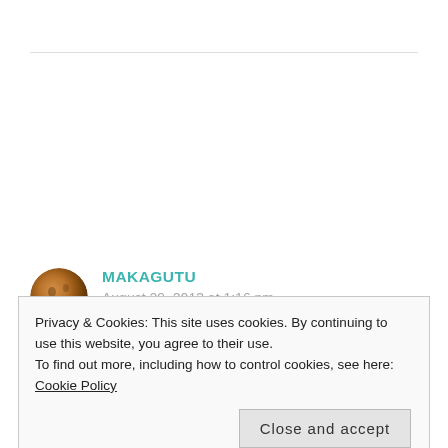[Figure (photo): Avatar photo of user Makagutu — a round profile picture showing a reddish-brown textured object (possibly a nut or seed)]
MAKAGUTU
August 29, 2013 at 1:16 pm
First as one of your guests wrote yesterday, we consider things evil those that are inimical to our well-being or to other sentient beings. In
Privacy & Cookies: This site uses cookies. By continuing to use this website, you agree to their use.
To find out more, including how to control cookies, see here: Cookie Policy
Close and accept
existence of god and as such need not raise an